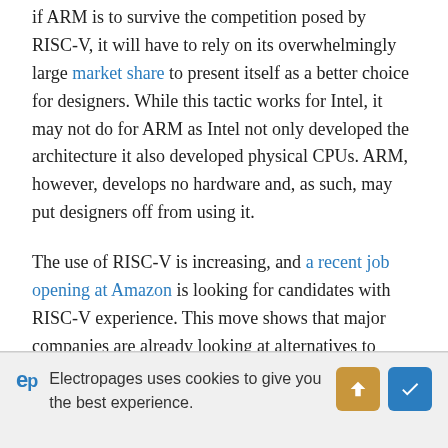if ARM is to survive the competition posed by RISC-V, it will have to rely on its overwhelmingly large market share to present itself as a better choice for designers. While this tactic works for Intel, it may not do for ARM as Intel not only developed the architecture it also developed physical CPUs. ARM, however, develops no hardware and, as such, may put designers off from using it.
The use of RISC-V is increasing, and a recent job opening at Amazon is looking for candidates with RISC-V experience. This move shows that major companies are already looking at alternatives to ARM, and the attempted purchase of ARM by NVIDIA does not help this.
As technology continues to improve and support for RISC-V
Electropages uses cookies to give you the best experience.